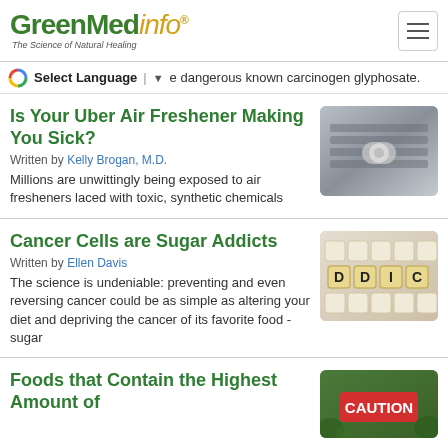GreenMedInfo - The Science of Natural Healing
Select Language ▼ e dangerous known carcinogen glyphosate.
Is Your Uber Air Freshener Making You Sick?
Written by Kelly Brogan, M.D.
Millions are unwittingly being exposed to air fresheners laced with toxic, synthetic chemicals
[Figure (photo): Car air freshener vent close-up, silver/gray tones]
Cancer Cells are Sugar Addicts
Written by Ellen Davis
The science is undeniable: preventing and even reversing cancer could be as simple as altering your diet and depriving the cancer of its favorite food - sugar
[Figure (photo): Letter tiles spelling ADDIC on white sugar cubes background]
Foods that Contain the Highest Amount of
[Figure (photo): CAUTION sign in green foliage background]